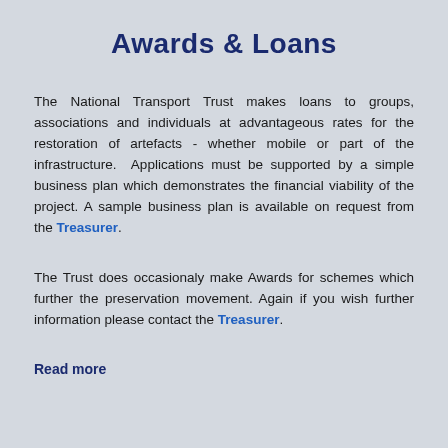Awards & Loans
The National Transport Trust makes loans to groups, associations and individuals at advantageous rates for the restoration of artefacts - whether mobile or part of the infrastructure.  Applications must be supported by a simple business plan which demonstrates the financial viability of the project. A sample business plan is available on request from the Treasurer.
The Trust does occasionaly make Awards for schemes which further the preservation movement. Again if you wish further information please contact the Treasurer.
Read more